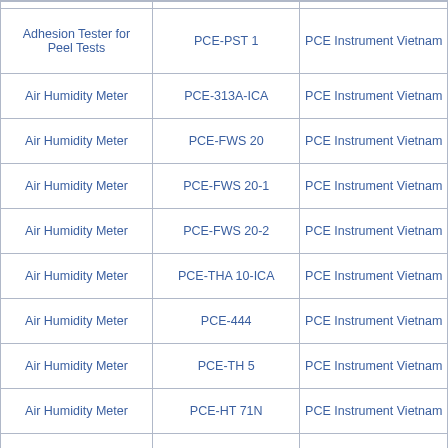| Product | Model | Supplier |
| --- | --- | --- |
| Adhesion Tester for Peel Tests | PCE-PST 1 | PCE Instrument Vietnam |
| Air Humidity Meter | PCE-313A-ICA | PCE Instrument Vietnam |
| Air Humidity Meter | PCE-FWS 20 | PCE Instrument Vietnam |
| Air Humidity Meter | PCE-FWS 20-1 | PCE Instrument Vietnam |
| Air Humidity Meter | PCE-FWS 20-2 | PCE Instrument Vietnam |
| Air Humidity Meter | PCE-THA 10-ICA | PCE Instrument Vietnam |
| Air Humidity Meter | PCE-444 | PCE Instrument Vietnam |
| Air Humidity Meter | PCE-TH 5 | PCE Instrument Vietnam |
| Air Humidity Meter | PCE-HT 71N | PCE Instrument Vietnam |
| Air Humidity Meter | PCE-555 | PCE Instrument Vietnam |
| Air Humidity Meter | PCE-EM 886 | PCE Instrument Vietnam |
| Air Humidity Meter | PCE-THA 10 | PCE Instrument Vietnam |
| Air Humidity Meter | PCE-EM 882 | PCE Instrument Vietnam |
| Air Humidity Meter | PCE-HFX 100 | PCE Instrument Vietnam |